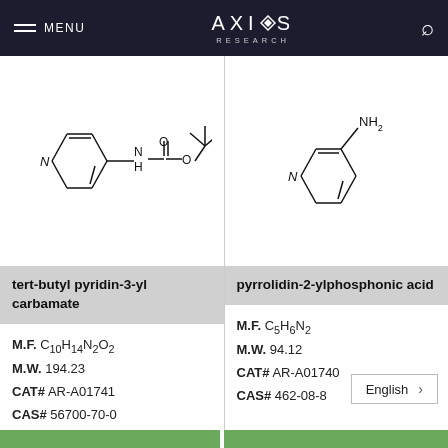MENU  AXIOS RESEARCH
[Figure (schematic): Chemical structure of tert-butyl pyridin-3-yl carbamate: a pyridine ring connected via NH to C(=O)-O-C(CH3)3]
tert-butyl pyridin-3-yl carbamate
M.F. C10H14N2O2
M.W. 194.23
CAT# AR-A01741
CAS# 56700-70-0
[Figure (schematic): Chemical structure of 3-aminopyridine (pyrrolidin-2-ylphosphonic acid listed): a pyridine ring with NH2 substituent at position 3]
pyrrolidin-2-ylphosphonic acid
M.F. C5H6N2
M.W. 94.12
CAT# AR-A01740
CAS# 462-08-8